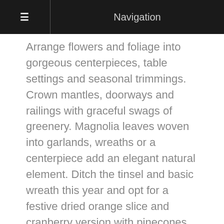Navigation
Arrange flowers and foliage into gorgeous centerpieces, table settings and seasonal trimmings. Crown mantles, doorways and railings with graceful swags of greenery. Magnolia leaves woven into garlands, wreaths or a centerpiece add an elegant natural element. Ditch the tinsel and basic wreath this year and opt for a festive dried orange slice and cranberry version with pinecones instead. When it comes to color and beauty, fruit can be as festive as flowers, especially when used to decorate a holiday dessert or garnish serving dishes. If you have dreams of the stuff of sugar plum fairies, go ahead and indulge in sugared fruit arrangements. You can also go bold with